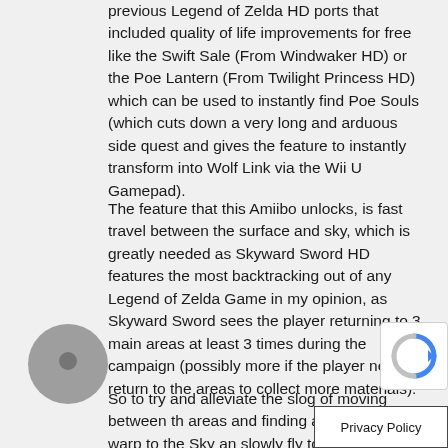previous Legend of Zelda HD ports that included quality of life improvements for free like the Swift Sale (From Windwaker HD) or the Poe Lantern (From Twilight Princess HD) which can be used to instantly find Poe Souls (which cuts down a very long and arduous side quest and gives the feature to instantly transform into Wolf Link via the Wii U Gamepad).
The feature that this Amiibo unlocks, is fast travel between the surface and sky, which is greatly needed as Skyward Sword HD features the most backtracking out of any Legend of Zelda Game in my opinion, as Skyward Sword sees the player returning to 3 main areas at least 3 times during the campaign (possibly more if the player needs to return to the areas to collect more materials).
So to try and alleviate the slog of moving between the areas and finding a Bird Statue to warp to the Sky and slowly fly to the next area, the Amiibo allows you